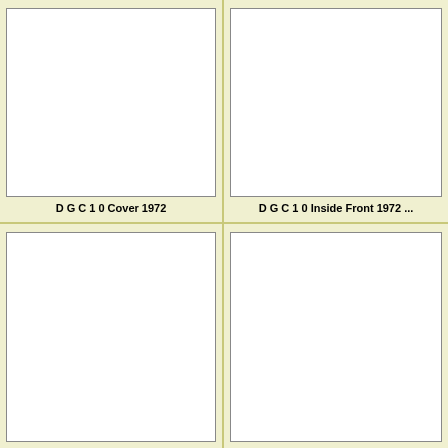[Figure (other): Blank white thumbnail placeholder for D G C 1 0 Cover 1972]
D G C 1 0 Cover 1972
[Figure (other): Blank white thumbnail placeholder for D G C 1 0 Inside Front 1972 ...]
D G C 1 0 Inside Front 1972 ...
[Figure (other): Blank white thumbnail placeholder (bottom left)]
[Figure (other): Blank white thumbnail placeholder (bottom right)]